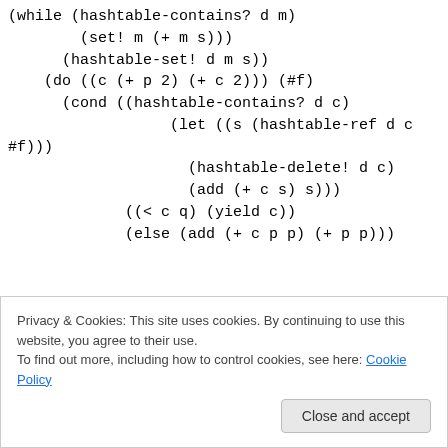(while (hashtable-contains? d m)
        (set! m (+ m s)))
      (hashtable-set! d m s))
    (do ((c (+ p 2) (+ c 2))) (#f)
      (cond ((hashtable-contains? d c)
                  (let ((s (hashtable-ref d c
#f)))
                    (hashtable-delete! d c)
                    (add (+ c s) s)))
             ((< c q) (yield c))
             (else (add (+ c p p) (+ p p)))
Privacy & Cookies: This site uses cookies. By continuing to use this website, you agree to their use.
To find out more, including how to control cookies, see here: Cookie Policy